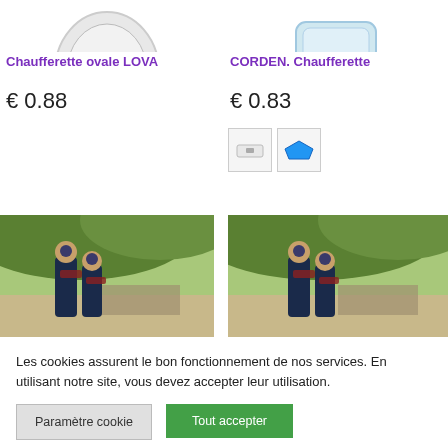[Figure (photo): Partial top of oval hand warmer product image, cropped at top]
Chaufferette ovale LOVA
€ 0.88
[Figure (photo): Partial top of rectangular hand warmer product image, cropped at top]
CORDEN. Chaufferette
€ 0.83
[Figure (photo): Color swatches: white/grey and blue for CORDEN Chaufferette]
[Figure (photo): Two children walking outdoors under trees, wearing winter coats and hats - left product photo]
[Figure (photo): Two children walking outdoors under trees, wearing winter coats and hats - right product photo]
Les cookies assurent le bon fonctionnement de nos services. En utilisant notre site, vous devez accepter leur utilisation.
Paramètre cookie
Tout accepter